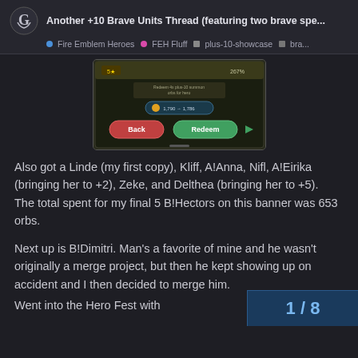Another +10 Brave Units Thread (featuring two brave spe... | Fire Emblem Heroes | FEH Fluff | plus-10-showcase | bra...
[Figure (screenshot): Screenshot of a mobile game UI showing a redemption/summon screen with 'Back' and 'Redeem' buttons, a 5-star indicator, 267%, and orb count showing 1,790 → 1,786]
Also got a Linde (my first copy), Kliff, A!Anna, Nifl, A!Eirika (bringing her to +2), Zeke, and Delthea (bringing her to +5).
The total spent for my final 5 B!Hectors on this banner was 653 orbs.
Next up is B!Dimitri. Man's a favorite of mine and he wasn't originally a merge project, but then he kept showing up on accident and I then decided to merge him.
Went into the Hero Fest with
1 / 8